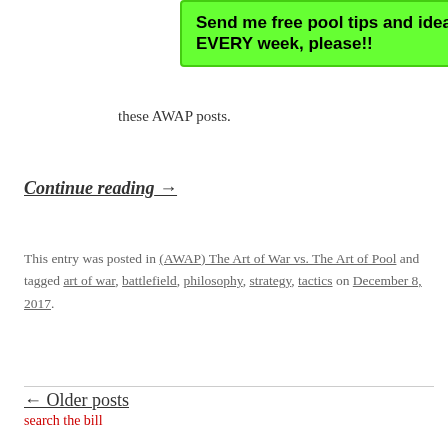[Figure (other): Green banner advertisement saying 'Send me free pool tips and ideas - EVERY week, please!!']
these AWAP posts.
Continue reading →
This entry was posted in (AWAP) The Art of War vs. The Art of Pool and tagged art of war, battlefield, philosophy, strategy, tactics on December 8, 2017.
← Older posts
search the bill
[Figure (other): Yellow popup ad: Billiard Gods BOOK OF THE MONTH CLUB - $6.99/Month!! A Pool Book every month for 10 months. With close button and Translate bar.]